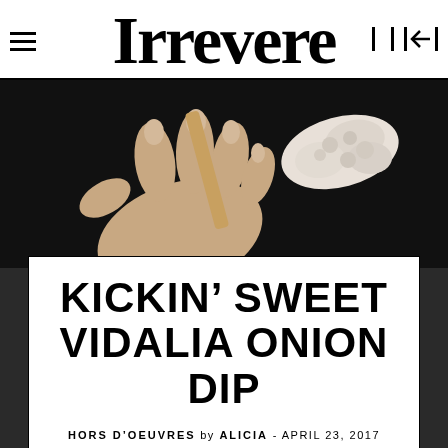Irrevere
[Figure (photo): A hand holding a breadstick or cracker topped with a creamy white dip, against a dark background.]
KICKIN' SWEET VIDALIA ONION DIP
HORS D'OEUVRES by ALICIA - APRIL 23, 2017